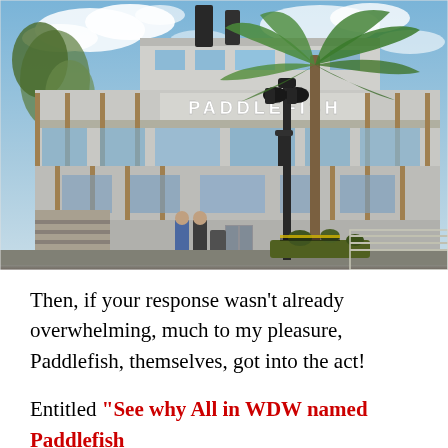[Figure (photo): Exterior photograph of the Paddlefish restaurant building, designed to look like a multi-deck riverboat steamship. The building has white signage reading 'PADDLEFISH' on the upper level. A palm tree and vintage-style lamp post are visible in the foreground. Two people stand near the entrance. Blue sky with clouds in the background.]
Then, if your response wasn't already overwhelming, much to my pleasure, Paddlefish, themselves, got into the act!
Entitled "See why All in WDW named Paddlefish